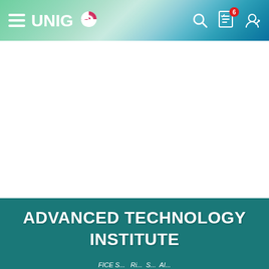UNIGO — navigation bar with hamburger menu, logo, search icon, checklist badge (6), and profile icon
[Figure (screenshot): White blank content area below navigation bar — ad or image placeholder]
ADVANCED TECHNOLOGY INSTITUTE